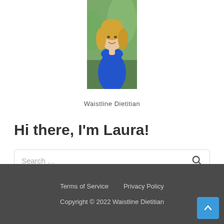[Figure (photo): Portrait photo of a blonde woman in a blue dress, smiling, outdoors with greenery background]
Waistline Dietitian
Hi there, I'm Laura!
Search …
Terms of Service   Privacy Policy   Copyright © 2022 Waistline Dietitian